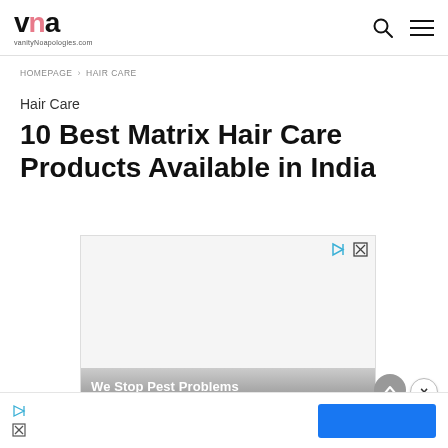vanityNoapologies.com
HOMEPAGE > HAIR CARE
Hair Care
10 Best Matrix Hair Care Products Available in India
[Figure (other): Advertisement banner with icons and footer text 'We Stop Pest Problems']
[Figure (other): Bottom advertisement bar with play/close icons and blue button]